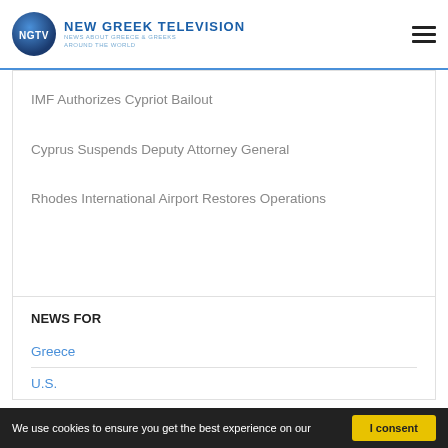NEW GREEK TELEVISION — NEWS ABOUT GREECE & GREEKS AROUND THE WORLD
IMF Authorizes Cypriot Bailout
Cyprus Suspends Deputy Attorney General
Rhodes International Airport Restores Operations
NEWS FOR
Greece
U.S.
We use cookies to ensure you get the best experience on our